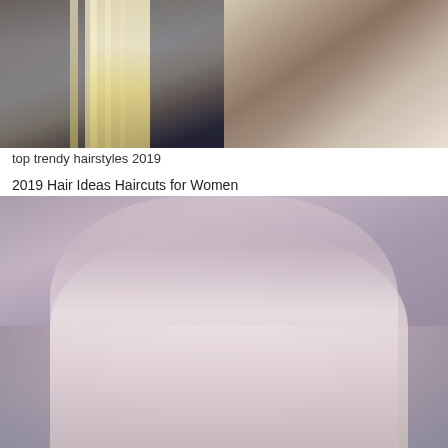[Figure (photo): Two photos side by side: left shows long straight blonde highlighted hair from behind on a dark background; right shows a woman with a short angled bob haircut from behind in a salon setting.]
top trendy hairstyles 2019
2019 Hair Ideas Haircuts for Women
[Figure (photo): Close-up portrait of a woman with a short pixie cut in silvery-mauve/lilac color, styled with volume on top. She has defined brows, smoky eye makeup, and pearl stud earrings against a grey background.]